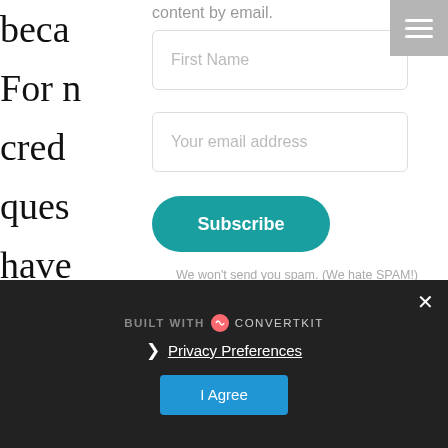content by email.
First Name
Your email address
Subscribe
We won't send you spam. (We hate SPAM!)
Unsubscribe at any time.
BUILT WITH ConvertKit
❯ Privacy Preferences
I Agree